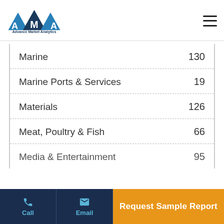[Figure (logo): Advance Market Analytics logo with blue triangle design and text]
| Category | Count |
| --- | --- |
| Marine | 130 |
| Marine Ports & Services | 19 |
| Materials | 126 |
| Meat, Poultry & Fish | 66 |
| Media & Entertainment | 95 |
Call | Email | Request Sample Report